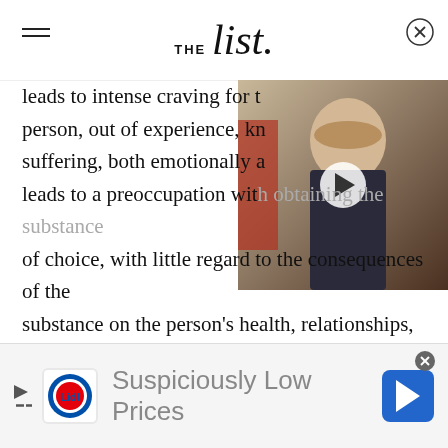THE list
[Figure (screenshot): Video thumbnail showing a young man with blond hair, with a play button overlay]
leads to intense craving for t person, out of experience, kn suffering, both emotionally a leads to a preoccupation with obtaining the substance of choice, with little regard to the consequences of the substance on the person's health, relationships, or the future. The drink or the hit of drugs gives short-term relief, but with the relief can come negative consequences while the person is under the influence of drugs and/or alcohol.
[Figure (screenshot): Lidl advertisement banner: Suspiciously Low Prices]